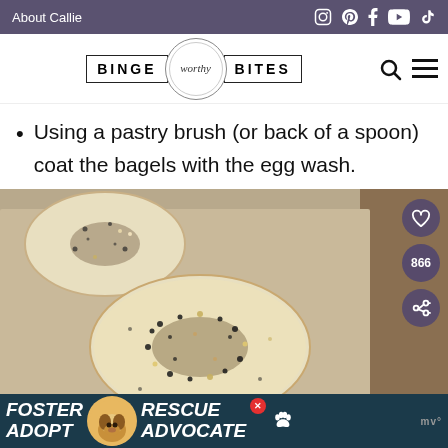About Callie | social icons
[Figure (logo): Binge Worthy Bites logo with search and menu icons]
Using a pastry brush (or back of a spoon) coat the bagels with the egg wash.
[Figure (photo): Bagels with everything bagel seasoning on parchment paper on a baking sheet, with social action buttons (heart, 866 count, share)]
[Figure (other): Advertisement banner: Foster Adopt with dog image, Rescue Advocate, with close button and mediavine logo]